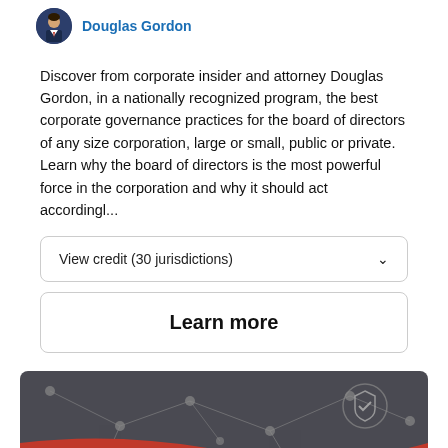Douglas Gordon
Discover from corporate insider and attorney Douglas Gordon, in a nationally recognized program, the best corporate governance practices for the board of directors of any size corporation, large or small, public or private. Learn why the board of directors is the most powerful force in the corporation and why it should act accordingl...
View credit (30 jurisdictions)
Learn more
[Figure (illustration): Handshake illustration with red sleeves on a dark grey network/tech background with nodes and lines. A shield/checkmark icon is visible in the upper right area. A chat button appears in the bottom right corner.]